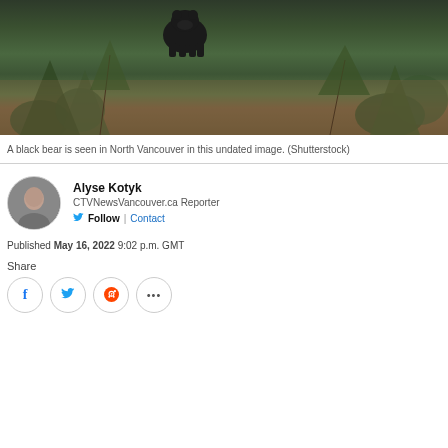[Figure (photo): A black bear seen on a forested hillside in North Vancouver, surrounded by green trees and brush. The bear appears dark-colored near the top center of the image.]
A black bear is seen in North Vancouver in this undated image. (Shutterstock)
Alyse Kotyk
CTVNewsVancouver.ca Reporter
Follow | Contact
Published May 16, 2022 9:02 p.m. GMT
Share